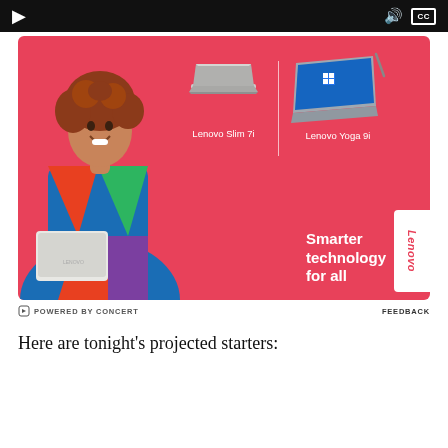[Figure (screenshot): Video player control bar with play button, volume icon, and CC (closed captions) button on black background]
[Figure (photo): Lenovo advertisement on pink/red background featuring a smiling woman with curly hair holding a white laptop, with product images of Lenovo Slim 7i and Lenovo Yoga 9i laptops. Tagline: Smarter technology for all. Lenovo logo badge on right side. Powered by Concert footer.]
Here are tonight's projected starters: